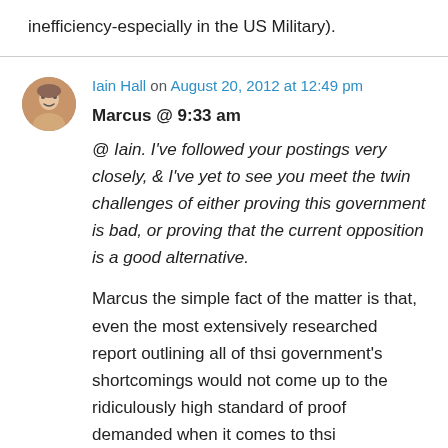inefficiency-especially in the US Military).
Iain Hall on August 20, 2012 at 12:49 pm
Marcus @ 9:33 am
@ Iain. I've followed your postings very closely, & I've yet to see you meet the twin challenges of either proving this government is bad, or proving that the current opposition is a good alternative.
Marcus the simple fact of the matter is that, even the most extensively researched report outlining all of thsi government's shortcomings would not come up to the ridiculously high standard of proof demanded when it comes to thsi government-the issues of that matter the